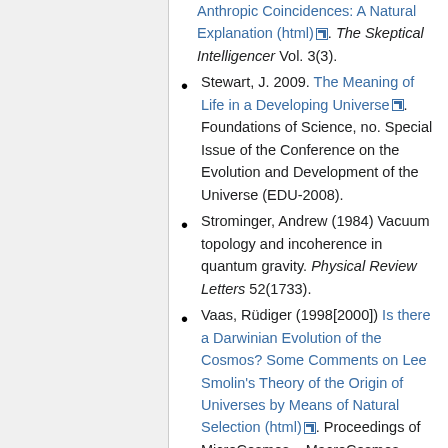Anthropic Coincidences: A Natural Explanation (html). The Skeptical Intelligencer Vol. 3(3).
Stewart, J. 2009. The Meaning of Life in a Developing Universe. Foundations of Science, no. Special Issue of the Conference on the Evolution and Development of the Universe (EDU-2008).
Strominger, Andrew (1984) Vacuum topology and incoherence in quantum gravity. Physical Review Letters 52(1733).
Vaas, Rüdiger (1998[2000]) Is there a Darwinian Evolution of the Cosmos? Some Comments on Lee Smolin's Theory of the Origin of Universes by Means of Natural Selection (html). Proceedings of MicroCosmos – MacroCosmos